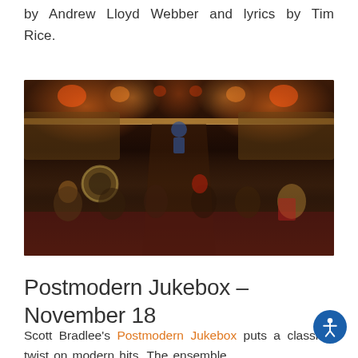by Andrew Lloyd Webber and lyrics by Tim Rice.
[Figure (photo): Group photo of Postmodern Jukebox ensemble cast members posing in a theater/concert hall setting with staircases, warm stage lighting, and red carpeted floor. Many performers hold instruments including guitar, sousaphone, accordion, and trumpet.]
Postmodern Jukebox – November 18
Scott Bradlee's Postmodern Jukebox puts a classical twist on modern hits. The ensemble